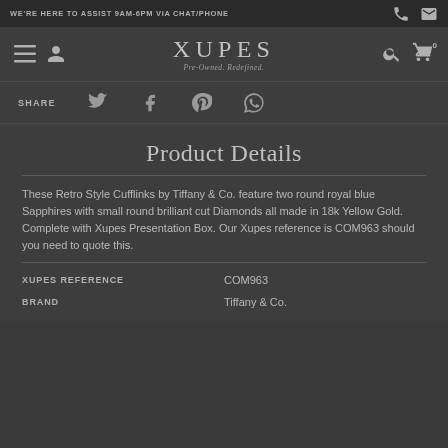WE'RE HERE TO ASSIST 9AM-6PM VIA CHAT/PHONE
XUPES
Pre-Owned. Redefined.
SHARE
Product Details
These Retro Style Cufflinks by Tiffany & Co. feature two round royal blue Sapphires with small round brilliant cut Diamonds all made in 18k Yellow Gold. Complete with Xupes Presentation Box. Our Xupes reference is COM963 should you need to quote this.
|  |  |
| --- | --- |
| XUPES REFERENCE | COM963 |
| BRAND | Tiffany & Co. |